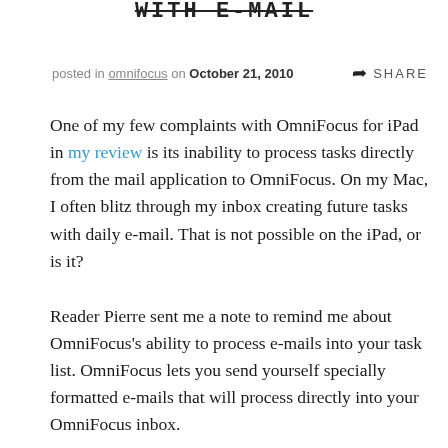WITH E-MAIL
posted in omnifocus on October 21, 2010   SHARE
One of my few complaints with OmniFocus for iPad in my review is its inability to process tasks directly from the mail application to OmniFocus. On my Mac, I often blitz through my inbox creating future tasks with daily e-mail. That is not possible on the iPad, or is it?
Reader Pierre sent me a note to remind me about OmniFocus's ability to process e-mails into your task list. OmniFocus lets you send yourself specially formatted e-mails that will process directly into your OmniFocus inbox.
To set it up, use the OmniFocus Mail preference pane and select the Add Mail Rule to create OmniFocus actions